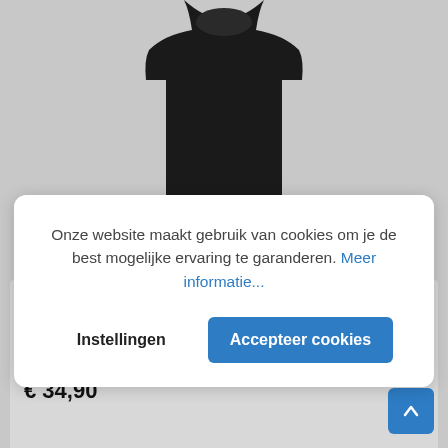[Figure (photo): Black tank top (2p Tank - Modern Ctn Stretch) displayed on a gray background, partially obscured by cookie consent modal]
Onze website maakt gebruik van cookies om je de best mogelijke ervaring te garanderen. Meer informatie...
Instellingen
Accepteer cookies
2p Tank - Modern Ctn Stretch
Merk: Calvin Klein
Op voorraad, levertijd 1 werkdag
€ 34,90